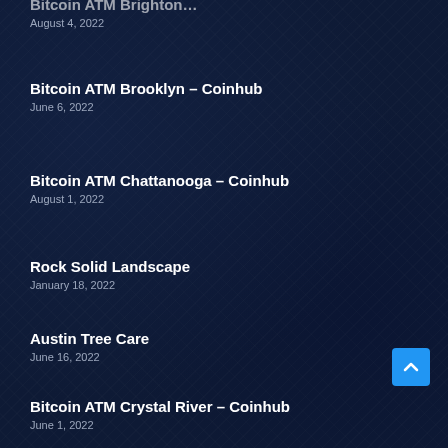Bitcoin ATM Brooklyn – Coinhub
June 6, 2022
Bitcoin ATM Chattanooga – Coinhub
August 1, 2022
Rock Solid Landscape
January 18, 2022
Austin Tree Care
June 16, 2022
Bitcoin ATM Crystal River – Coinhub
June 1, 2022